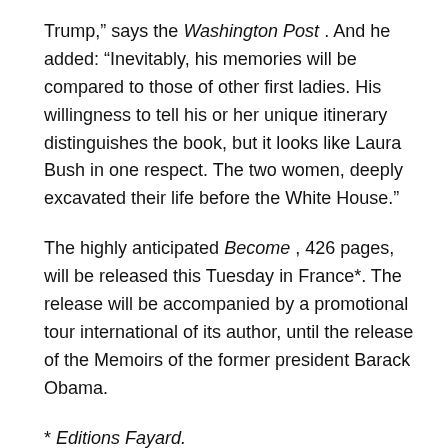Trump,” says the Washington Post . And he added: “Inevitably, his memories will be compared to those of other first ladies. His willingness to tell his or her unique itinerary distinguishes the book, but it looks like Laura Bush in one respect. The two women, deeply excavated their life before the White House.”
The highly anticipated Become , 426 pages, will be released this Tuesday in France*. The release will be accompanied by a promotional tour international of its author, until the release of the Memoirs of the former president Barack Obama.
* Editions Fayard.